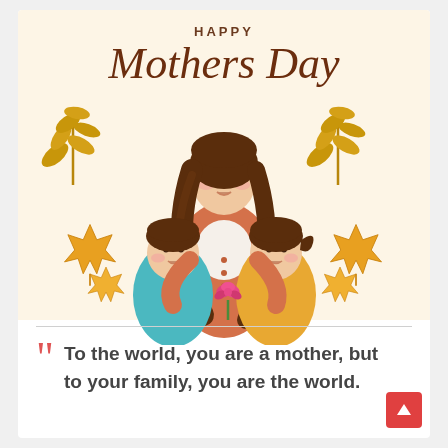HAPPY Mothers Day
[Figure (illustration): Flat illustration of a mother with long brown wavy hair wearing a salmon/rust colored top, embracing two children — a boy in teal on her left and a girl in yellow/orange on her right. The mother holds a pink carnation flower. Background features golden/amber autumn leaves and maple leaves on a warm cream background.]
To the world, you are a mother, but to your family, you are the world.